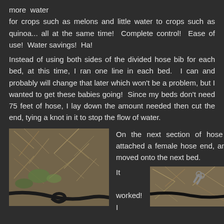more  water
for crops such as melons and little water to crops such as quinoa... all at the same time!  Complete control!  Ease of use!  Water savings!  Ha!
Instead of using both sides of the divided hose bib for each bed, at this time, I ran one line in each bed.  I can and probably will change that later which won't be a problem, but I wanted to get these babies going!  Since my beds don't need 75 feet of hose, I lay down the amount needed then cut the end, tying a knot in it to stop the flow of water.
[Figure (photo): Photo of dry grass and straw on soil with a black soaker hose tied in a knot visible at bottom.]
On the next section of hose I attached a female hose end, and moved onto the next bed.
It
worked!  I
[Figure (photo): Photo of dry straw/hay with a black soaker hose and scissors visible.]